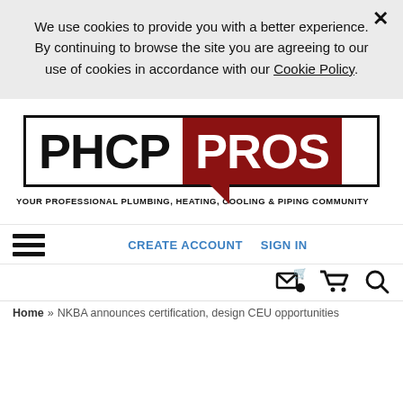We use cookies to provide you with a better experience. By continuing to browse the site you are agreeing to our use of cookies in accordance with our Cookie Policy.
[Figure (logo): PHCP PROS logo - YOUR PROFESSIONAL PLUMBING, HEATING, COOLING & PIPING COMMUNITY]
CREATE ACCOUNT  SIGN IN
Home » NKBA announces certification, design CEU opportunities